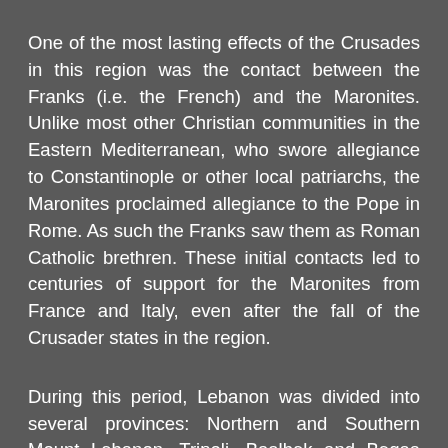One of the most lasting effects of the Crusades in this region was the contact between the Franks (i.e. the French) and the Maronites. Unlike most other Christian communities in the Eastern Mediterranean, who swore allegiance to Constantinople or other local patriarchs, the Maronites proclaimed allegiance to the Pope in Rome. As such the Franks saw them as Roman Catholic brethren. These initial contacts led to centuries of support for the Maronites from France and Italy, even after the fall of the Crusader states in the region.
During this period, Lebanon was divided into several provinces: Northern and Southern Mount Lebanon, Tripoli, Baalbek and Beqaa Valley and Jabal Amel. In southern Mount Lebanon in 1590, Fakhr-al-Din II became the successor to Korkmaz. He soon established his authority as paramount prince of the